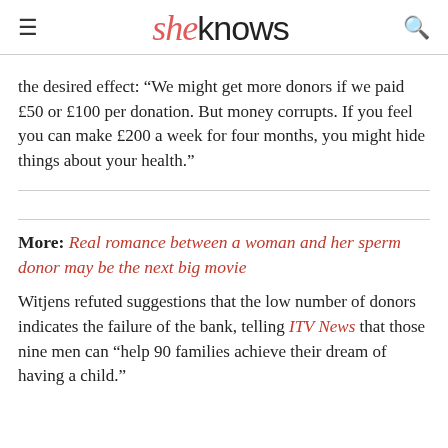sheknows
the desired effect: “We might get more donors if we paid £50 or £100 per donation. But money corrupts. If you feel you can make £200 a week for four months, you might hide things about your health.”
More: Real romance between a woman and her sperm donor may be the next big movie
Witjens refuted suggestions that the low number of donors indicates the failure of the bank, telling ITV News that those nine men can “help 90 families achieve their dream of having a child.”